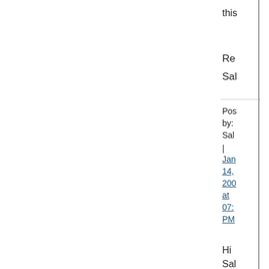this
Re
Sal
Posted by: Sal | Jan 14, 200 at 07: PM
Hi Sal
You need to do it with an em di